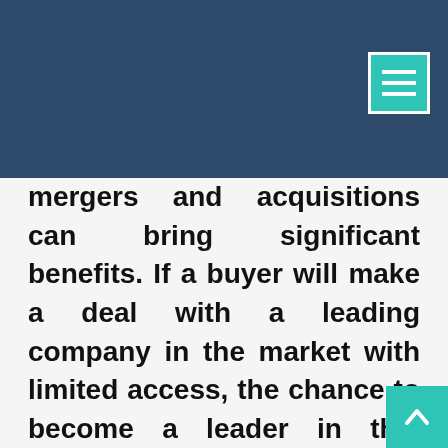mergers and acquisitions can bring significant benefits. If a buyer will make a deal with a leading company in the market with limited access, the chance to become a leader in this market will be close to the highest.&A deals have an impact on all the participants of the market competitive struggle and may lead to the significant changes in doing business in the definite segment. Such deals are very hard to introduce as they require accura... estimations and evaluations. On...